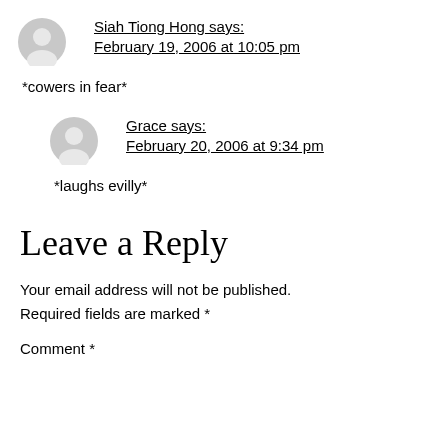Siah Tiong Hong says:
February 19, 2006 at 10:05 pm
*cowers in fear*
Grace says:
February 20, 2006 at 9:34 pm
*laughs evilly*
Leave a Reply
Your email address will not be published. Required fields are marked *
Comment *